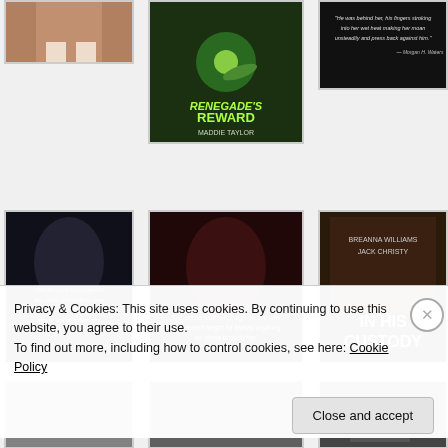[Figure (photo): Partial view of a person's lower body, cropped image, top row left]
[Figure (photo): Book cover: Renegade's Reward by Maddie Taylor, sci-fi romance with green planet and spaceship]
[Figure (photo): Dark quote image with italic text: 'He was behind her, his fingers stroking into her wet heat making her moan unsteadily and press back against him.']
[Figure (photo): Dark romantic/erotic quote image with italic cursive text overlay, second row left]
[Figure (photo): Dark romantic image with quote: 'The bench was waist high so she was at a perfect height for almost anything he chose to do to her.']
[Figure (photo): Book cover: In His Custody by Breanna Williams and Jack Christy, romance novel with couple]
[Figure (photo): Partially visible photo, third row left, mostly obscured by cookie banner]
[Figure (photo): Partially visible dark photo, third row center, mostly obscured by cookie banner]
[Figure (photo): Partially visible photo of a man, third row right, mostly obscured by cookie banner]
Privacy & Cookies: This site uses cookies. By continuing to use this website, you agree to their use.
To find out more, including how to control cookies, see here: Cookie Policy
Close and accept